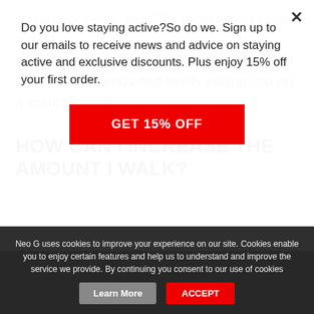Do you love staying active?So do we. Sign up to our emails to receive news and advice on staying active and exclusive discounts. Plus enjoy 15% off your first order.
[Figure (other): Red button with text GET 15% OFF]
spring back in your step. The social aspect as well doesn't need to come from walking groups this could just be from friends and family joining you on a leisurely stroll.
HOW CAN I INCREASE THE AMOUNT I WALK?
Neo G uses cookies to improve your experience on our site. Cookies enable you to enjoy certain features and help us to understand and improve the service we provide. By continuing you consent to our use of cookies